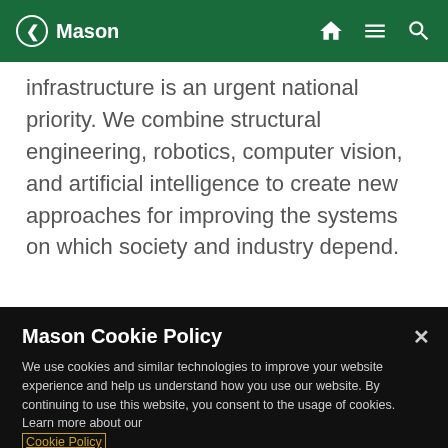Mason
infrastructure is an urgent national priority. We combine structural engineering, robotics, computer vision, and artificial intelligence to create new approaches for improving the systems on which society and industry depend.
Mason Cookie Policy
We use cookies and similar technologies to improve your website experience and help us understand how you use our website. By continuing to use this website, you consent to the usage of cookies. Learn more about our Cookie Policy
Cookie Preferences
Accept Cookies